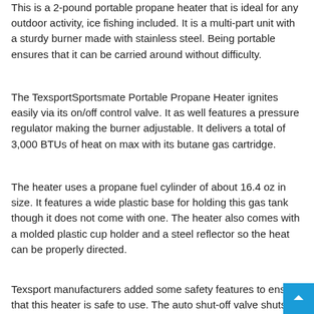This is a 2-pound portable propane heater that is ideal for any outdoor activity, ice fishing included. It is a multi-part unit with a sturdy burner made with stainless steel. Being portable ensures that it can be carried around without difficulty.
The TexsportSportsmate Portable Propane Heater ignites easily via its on/off control valve. It as well features a pressure regulator making the burner adjustable. It delivers a total of 3,000 BTUs of heat on max with its butane gas cartridge.
The heater uses a propane fuel cylinder of about 16.4 oz in size. It features a wide plastic base for holding this gas tank though it does not come with one. The heater also comes with a molded plastic cup holder and a steel reflector so the heat can be properly directed.
Texsport manufacturers added some safety features to ensure that this heater is safe to use. The auto shut-off valve shuts off